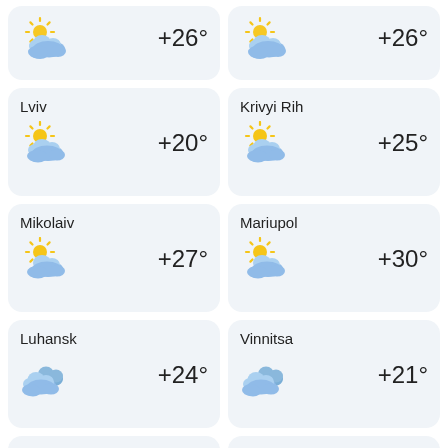+26° (top left card, partly cloudy)
+26° (top right card, partly cloudy)
Lviv +20°
Krivyi Rih +25°
Mikolaiv +27°
Mariupol +30°
Luhansk +24°
Vinnitsa +21°
Kherson +28°
chernihiv +19°
Poltava +23°
Chercasy +22°